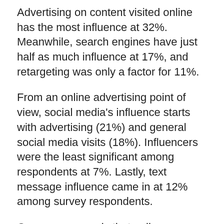Advertising on content visited online has the most influence at 32%. Meanwhile, search engines have just half as much influence at 17%, and retargeting was only a factor for 11%.
From an online advertising point of view, social media's influence starts with advertising (21%) and general social media visits (18%). Influencers were the least significant among respondents at 7%. Lastly, text message influence came in at 12% among survey respondents.
Our survey reveals that online shoppers are receptive to retail email advertising. Online shoppers welcome receiving a high frequency of marketing emails that subsequently result in strong open rates. 72% of online shoppers open email advertising at least a few times a week, with 43% perusing daily or more. This is a ripe audience ready to buy at any time and one that warrants every retailer's attention.